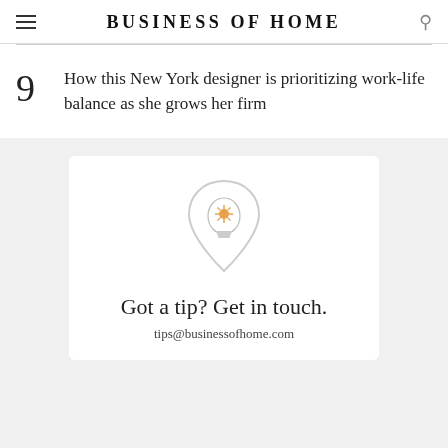BUSINESS OF HOME
How this New York designer is prioritizing work-life balance as she grows her firm
[Figure (illustration): Lightbulb icon inside a teardrop/pin shape, with a golden starburst center]
Got a tip? Get in touch.
tips@businessofhome.com